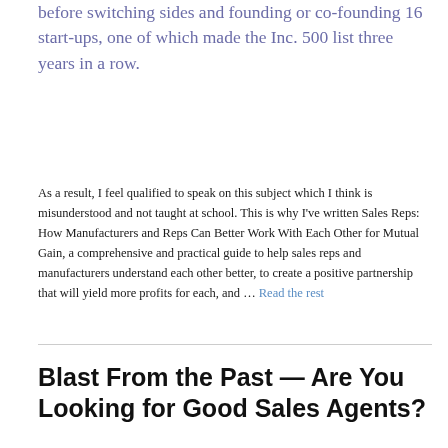before switching sides and founding or co-founding 16 start-ups, one of which made the Inc. 500 list three years in a row.
As a result, I feel qualified to speak on this subject which I think is misunderstood and not taught at school. This is why I've written Sales Reps: How Manufacturers and Reps Can Better Work With Each Other for Mutual Gain, a comprehensive and practical guide to help sales reps and manufacturers understand each other better, to create a positive partnership that will yield more profits for each, and … Read the rest
Blast From the Past — Are You Looking for Good Sales Agents?